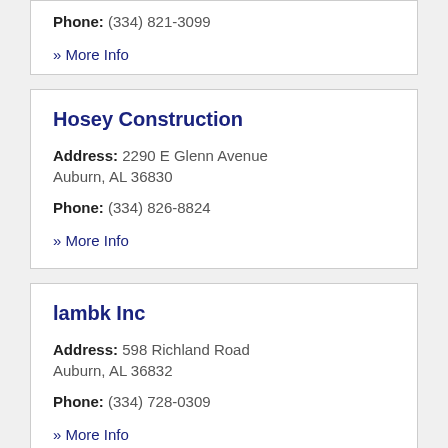Phone: (334) 821-3099
» More Info
Hosey Construction
Address: 2290 E Glenn Avenue Auburn, AL 36830
Phone: (334) 826-8824
» More Info
lambk Inc
Address: 598 Richland Road Auburn, AL 36832
Phone: (334) 728-0309
» More Info